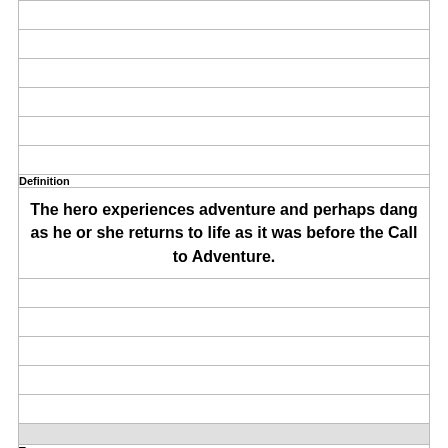| Definition |
| --- |
| The hero experiences adventure and perhaps dang as he or she returns to life as it was before the Call to Adventure. |
| Term |
| --- |
| Rescue from Without |